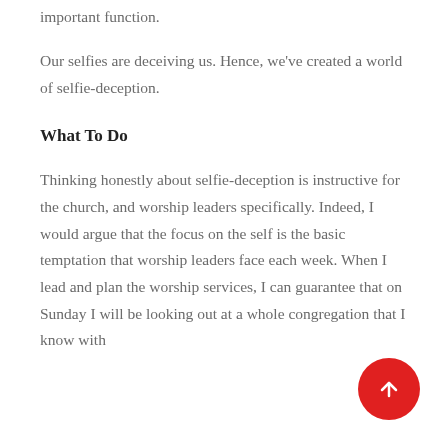important function.
Our selfies are deceiving us. Hence, we've created a world of selfie-deception.
What To Do
Thinking honestly about selfie-deception is instructive for the church, and worship leaders specifically. Indeed, I would argue that the focus on the self is the basic temptation that worship leaders face each week. When I lead and plan the worship services, I can guarantee that on Sunday I will be looking out at a whole congregation that I know with
[Figure (other): Red circular scroll-to-top button with white upward arrow]